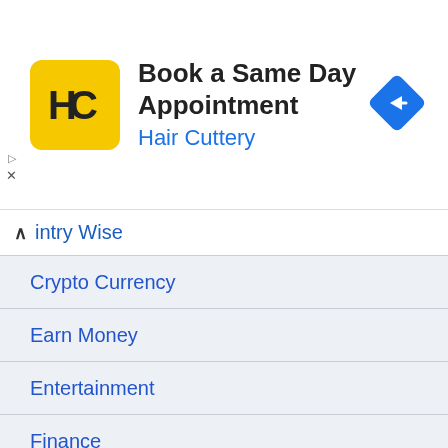[Figure (screenshot): Advertisement banner for Hair Cuttery showing logo, 'Book a Same Day Appointment' text, and a blue arrow navigation icon]
intry Wise
Crypto Currency
Earn Money
Entertainment
Finance
Gaming
Job & Exam
Movies